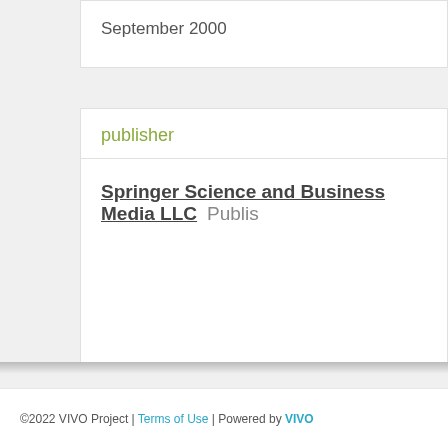September 2000
publisher
Springer Science and Business Media LLC  Publisher
published in
Nature Biotechnology  Journal
©2022 VIVO Project | Terms of Use | Powered by VIVO